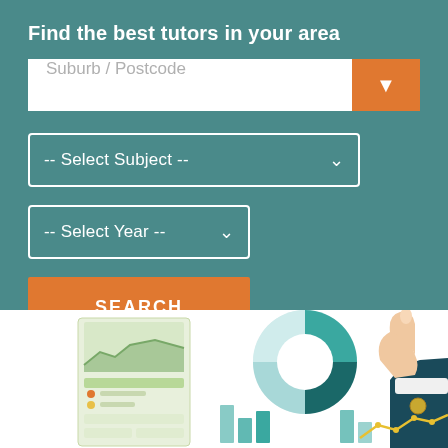Find the best tutors in your area
Suburb / Postcode
-- Select Subject --
-- Select Year --
SEARCH
[Figure (illustration): Bottom illustration showing a dashboard analytics card with area chart and colored blocks on the left, a pie/donut chart in the center, bar charts, and a hand/person pointing at charts on the right — flat design infographic style]